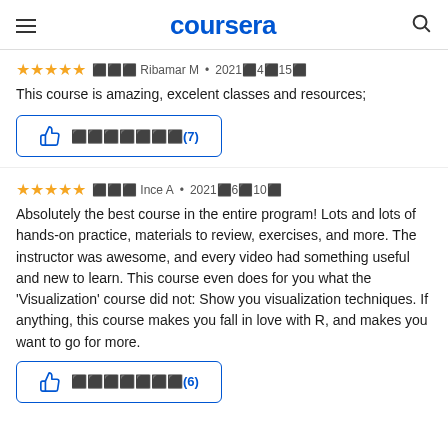coursera
⬛⬛⬛ Ribamar M • 2021⬛4⬛15⬛
This course is amazing, excelent classes and resources;
[Figure (other): Thumbs up helpful button with text ⬛⬛⬛⬛⬛⬛⬛(7)]
⬛⬛⬛ Ince A • 2021⬛6⬛10⬛
Absolutely the best course in the entire program! Lots and lots of hands-on practice, materials to review, exercises, and more. The instructor was awesome, and every video had something useful and new to learn. This course even does for you what the 'Visualization' course did not: Show you visualization techniques. If anything, this course makes you fall in love with R, and makes you want to go for more.
[Figure (other): Thumbs up helpful button with text ⬛⬛⬛⬛⬛⬛⬛(6)]